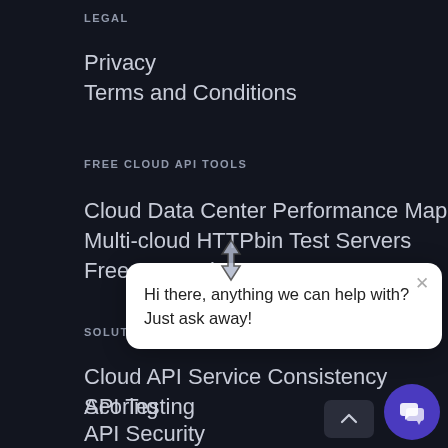LEGAL
Privacy
Terms and Conditions
FREE CLOUD API TOOLS
Cloud Data Center Performance Map
Multi-cloud HTTPbin Test Servers
Free API Ratings
[Figure (screenshot): Chat popup with cursor/resize icon above it. Text reads: Hi there, anything we can help with? Just ask away! with an X close button.]
SOLUTIONS
Cloud API Service Consistency Scoring
API Testing
API Security